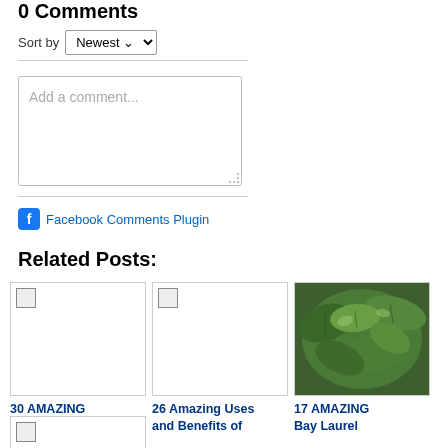0 Comments
Sort by Newest
Add a comment...
Facebook Comments Plugin
Related Posts:
[Figure (photo): Broken image placeholder for first related post card]
30 AMAZING Yarrow Essential
[Figure (photo): Broken image placeholder for second related post card]
26 Amazing Uses and Benefits of
[Figure (photo): Photo of bay laurel leaves — green glossy leaves close-up]
17 AMAZING Bay Laurel
[Figure (photo): Broken image placeholder for fourth related post card (partially visible)]